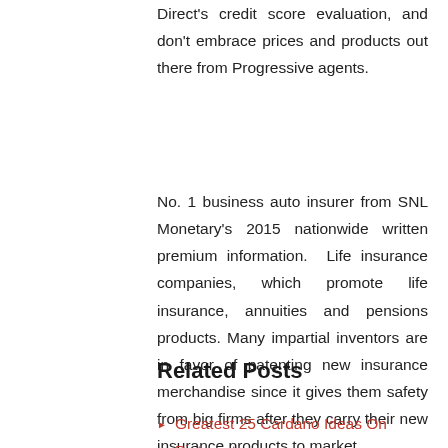Direct's credit score evaluation, and don't embrace prices and products out there from Progressive agents.
No. 1 business auto insurer from SNL Monetary's 2015 nationwide written premium information. Life insurance companies, which promote life insurance, annuities and pensions products. Many impartial inventors are in favor of patenting new insurance merchandise since it gives them safety from big firms after they carry their new insurance products to market.
Related Posts
Greatest 25 Cardano Ideas On Pinterest